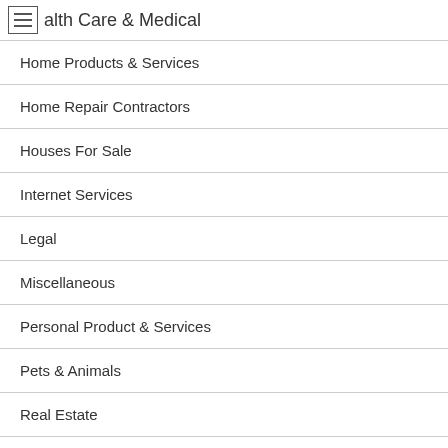Health Care & Medical
Home Products & Services
Home Repair Contractors
Houses For Sale
Internet Services
Legal
Miscellaneous
Personal Product & Services
Pets & Animals
Real Estate
Real Estate Online